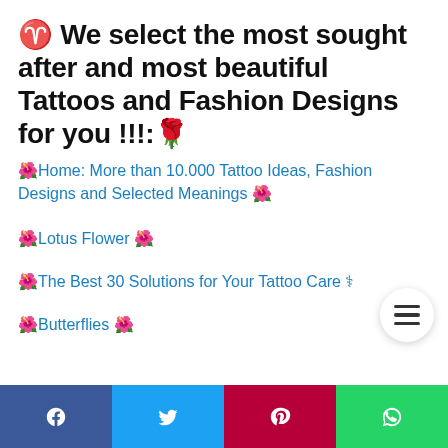♑ We select the most sought after and most beautiful Tattoos and Fashion Designs for you !!!:🌹
🌺Home: More than 10.000 Tattoo Ideas, Fashion Designs and Selected Meanings 🌺
🌺Lotus Flower 🌺
🌺The Best 30 Solutions for Your Tattoo Care ⚕
🌺Butterflies 🌺